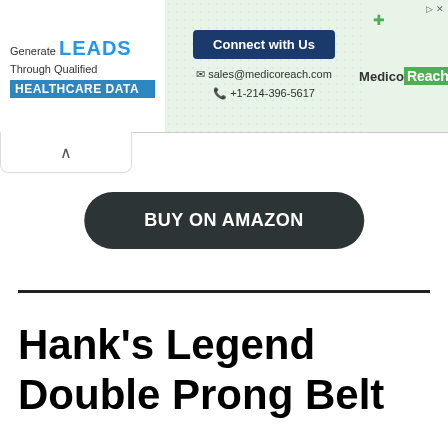[Figure (screenshot): MedicoReach advertisement banner with 'Generate LEADS Through Qualified HEALTHCARE DATA' on left, 'Connect with Us' button with sales@medicoreach.com and +1-214-396-5617 contact info in center, and MedicoReach logo on right]
BUY ON AMAZON
Hank’s Legend Double Prong Belt